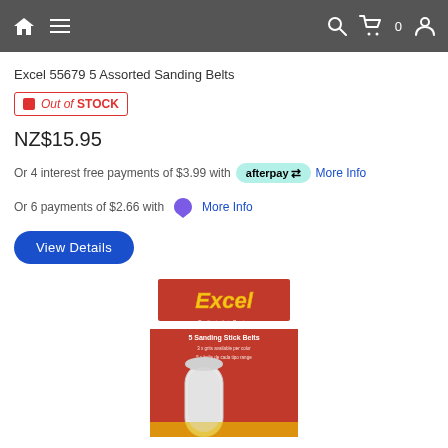Excel 55679 5 Assorted Sanding Belts
Out of STOCK
NZ$15.95
Or 4 interest free payments of $3.99 with afterpay More Info
Or 6 payments of $2.66 with More Info
View Details
[Figure (photo): Excel brand product packaging showing 5 Sanding Stick Belts on a red and white box, with sanding belt visible]